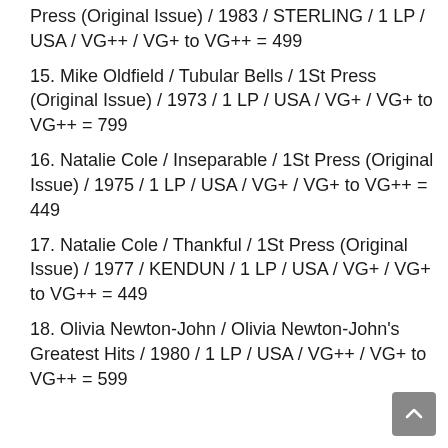Press (Original Issue) / 1983 / STERLING / 1 LP / USA / VG++ / VG+ to VG++ = 499
15. Mike Oldfield / Tubular Bells / 1St Press (Original Issue) / 1973 / 1 LP / USA / VG+ / VG+ to VG++ = 799
16. Natalie Cole / Inseparable / 1St Press (Original Issue) / 1975 / 1 LP / USA / VG+ / VG+ to VG++ = 449
17. Natalie Cole / Thankful / 1St Press (Original Issue) / 1977 / KENDUN / 1 LP / USA / VG+ / VG+ to VG++ = 449
18. Olivia Newton-John / Olivia Newton-John's Greatest Hits / 1980 / 1 LP / USA / VG++ / VG+ to VG++ = 599